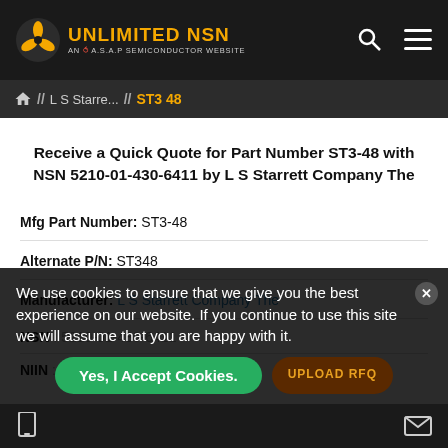UNLIMITED NSN AN A.S.A.P SEMICONDUCTOR WEBSITE
Home // L S Starre... // ST3 48
Receive a Quick Quote for Part Number ST3-48 with NSN 5210-01-430-6411 by L S Starrett Company The
Mfg Part Number: ST3-48
Alternate P/N: ST348
Manufacturer: L S Starrett Company The
NSN : 5210-01-430-6411
NIIN : 014306411
We use cookies to ensure that we give you the best experience on our website. If you continue to use this site we will assume that you are happy with it.